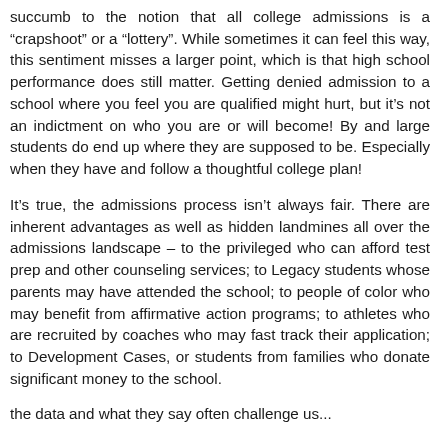succumb to the notion that all college admissions is a “crapshoot” or a “lottery”. While sometimes it can feel this way, this sentiment misses a larger point, which is that high school performance does still matter. Getting denied admission to a school where you feel you are qualified might hurt, but it’s not an indictment on who you are or will become! By and large students do end up where they are supposed to be. Especially when they have and follow a thoughtful college plan!
It’s true, the admissions process isn’t always fair. There are inherent advantages as well as hidden landmines all over the admissions landscape – to the privileged who can afford test prep and other counseling services; to Legacy students whose parents may have attended the school; to people of color who may benefit from affirmative action programs; to athletes who are recruited by coaches who may fast track their application; to Development Cases, or students from families who donate significant money to the school.
the data and what they say often challenge us...